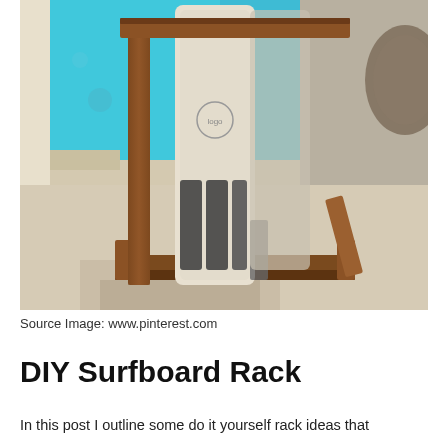[Figure (photo): A DIY wooden surfboard rack holding surfboards vertically, positioned next to a swimming pool on a sunny day. The rack is made of dark brown stained wood with a base frame and vertical posts.]
Source Image: www.pinterest.com
DIY Surfboard Rack
In this post I outline some do it yourself rack ideas that